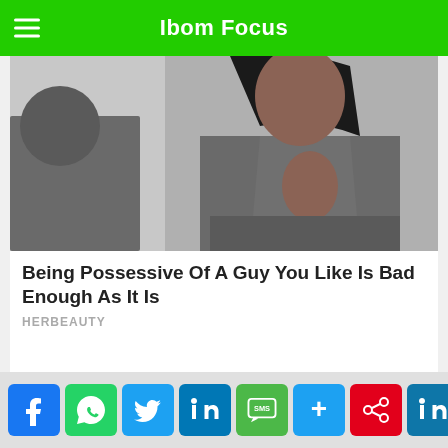Ibom Focus
[Figure (photo): A woman wearing a grey open jacket with a cutout, standing in a light-colored room]
Being Possessive Of A Guy You Like Is Bad Enough As It Is
HERBEAUTY
Social share bar with Facebook, WhatsApp, Twitter, LinkedIn, SMS, Plus, red share, LinkedIn, and next arrow buttons